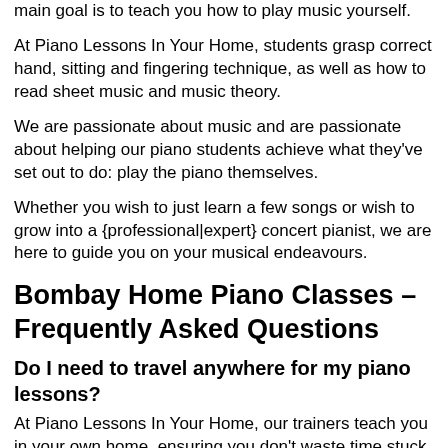main goal is to teach you how to play music yourself.
At Piano Lessons In Your Home, students grasp correct hand, sitting and fingering technique, as well as how to read sheet music and music theory.
We are passionate about music and are passionate about helping our piano students achieve what they've set out to do: play the piano themselves.
Whether you wish to just learn a few songs or wish to grow into a {professional|expert} concert pianist, we are here to guide you on your musical endeavours.
Bombay Home Piano Classes – Frequently Asked Questions
Do I need to travel anywhere for my piano lessons?
At Piano Lessons In Your Home, our trainers teach you in your own home, ensuring you don't waste time stuck in Bombay traffic to get to your piano classes.